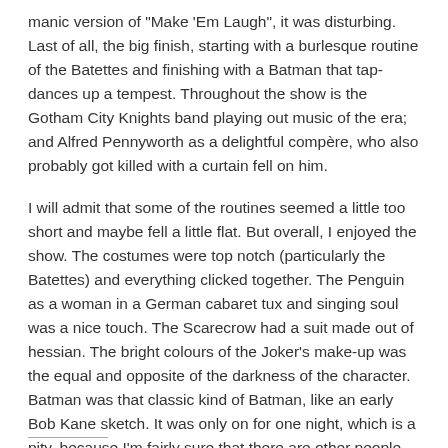manic version of "Make 'Em Laugh", it was disturbing. Last of all, the big finish, starting with a burlesque routine of the Batettes and finishing with a Batman that tap-dances up a tempest. Throughout the show is the Gotham City Knights band playing out music of the era; and Alfred Pennyworth as a delightful compère, who also probably got killed with a curtain fell on him.
I will admit that some of the routines seemed a little too short and maybe fell a little flat. But overall, I enjoyed the show. The costumes were top notch (particularly the Batettes) and everything clicked together. The Penguin as a woman in a German cabaret tux and singing soul was a nice touch. The Scarecrow had a suit made out of hessian. The bright colours of the Joker's make-up was the equal and opposite of the darkness of the character. Batman was that classic kind of Batman, like an early Bob Kane sketch. It was only on for one night, which is a pity, because I'm fairly sure that there are other people that have unfortunately missed out. At least, until it comes back to town...